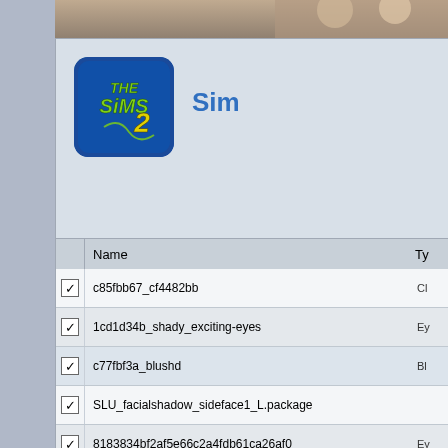[Figure (screenshot): Top strip showing background photo (persons/sims imagery)]
[Figure (logo): The Sims 2 application logo icon - blue square with rounded corners, green Sims logo text]
Sim
|  | Name | Ty |
| --- | --- | --- |
| ☑ | c85fbb67_cf4482bb | Cl |
| ☑ | 1cd1d34b_shady_exciting-eyes | Ey |
| ☑ | c77fbf3a_blushd | Bl |
| ☑ | SLU_facialshadow_sideface1_L.package |  |
| ☑ | 8183834bf2af5e66c2a4fdb61ca26af0 | Ey |
| ☑ | Masquerade Liners by dm-Lady Dracula | Ey |
| ☑ | [Nabila]We'veGotCompany_Exclusive | Li |
| ☑ | d07bb8769ec617985a305cd0bfbc8630 |  |
| ☑ | SLU_facialshadow_noseline1_L.package.package |  |
Version
Author